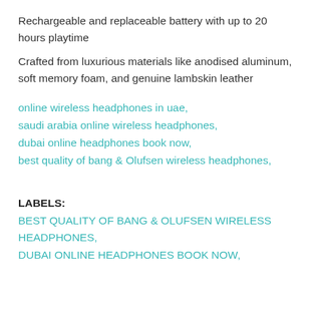Rechargeable and replaceable battery with up to 20 hours playtime
Crafted from luxurious materials like anodised aluminum, soft memory foam, and genuine lambskin leather
online wireless headphones in uae,
saudi arabia online wireless headphones,
dubai online headphones book now,
best quality of bang & Olufsen wireless headphones,
LABELS:
BEST QUALITY OF BANG & OLUFSEN WIRELESS HEADPHONES,
DUBAI ONLINE HEADPHONES BOOK NOW,